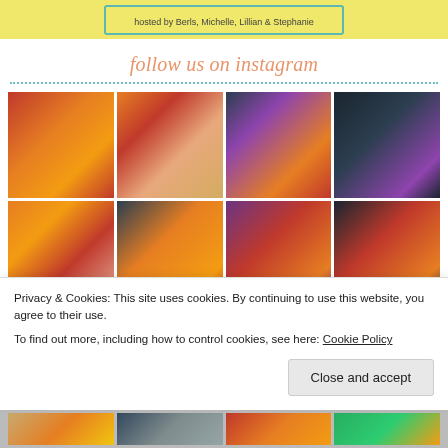[Figure (illustration): Blog banner with yellow background and teal border reading 'hosted by Berls, Michelle, Lillian & Stephanie']
follow us on instagram
[Figure (photo): 2x2 grid of Instagram photos showing books with autumn-themed flat lays, e-readers, and bookshelves]
Privacy & Cookies: This site uses cookies. By continuing to use this website, you agree to their use.
To find out more, including how to control cookies, see here: Cookie Policy
Close and accept